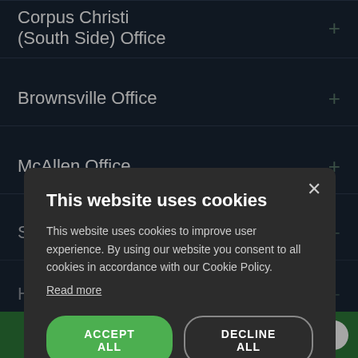Corpus Christi (South Side) Office
Brownsville Office
McAllen Office
San Antonio Office
H...
P...
[Figure (screenshot): Cookie consent modal dialog on a dark background. Title: 'This website uses cookies'. Body text: 'This website uses cookies to improve user experience. By using our website you consent to all cookies in accordance with our Cookie Policy.' Link: 'Read more'. Buttons: 'ACCEPT ALL' (green), 'DECLINE ALL' (outlined). Close X button at top right.]